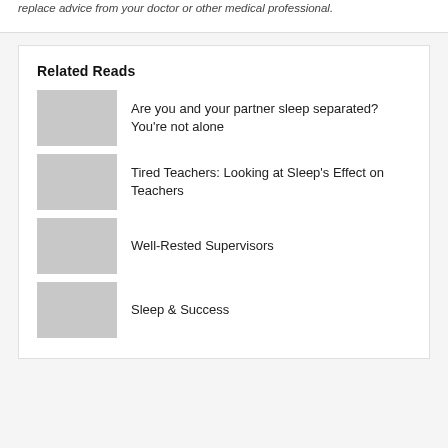replace advice from your doctor or other medical professional.
Related Reads
Are you and your partner sleep separated? You're not alone
Tired Teachers: Looking at Sleep's Effect on Teachers
Well-Rested Supervisors
Sleep & Success